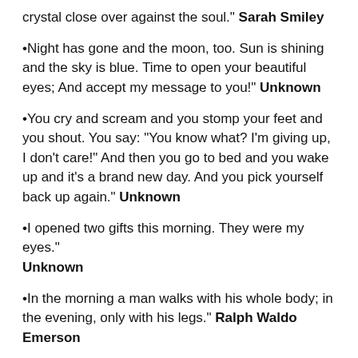crystal close over against the soul." Sarah Smiley
Night has gone and the moon, too. Sun is shining and the sky is blue. Time to open your beautiful eyes; And accept my message to you!" Unknown
You cry and scream and you stomp your feet and you shout. You say: "You know what? I'm giving up, I don't care!" And then you go to bed and you wake up and it's a brand new day. And you pick yourself back up again." Unknown
I opened two gifts this morning. They were my eyes." Unknown
In the morning a man walks with his whole body; in the evening, only with his legs." Ralph Waldo Emerson
One day you will wake up and there won't be any more time...